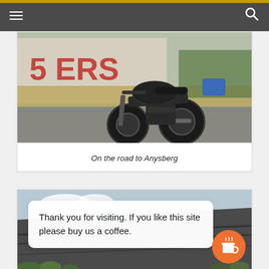Navigation bar with hamburger menu and search icon
[Figure (photo): A black adventure/dual-sport motorcycle (Kawasaki KLR-style) parked on a dirt/gravel road in front of a painted wall reading letters, dry grass hillside background, blue luggage on rear rack.]
On the road to Anysberg
[Figure (photo): Landscape photo of a dark volcanic/rocky hillside with layered rock strata, partly cloudy sky, with green shrubs at bottom. A white popup box overlays: 'Thank you for visiting. If you like this site please buy us a coffee.' An orange circular button with coffee cup icon appears bottom-right.]